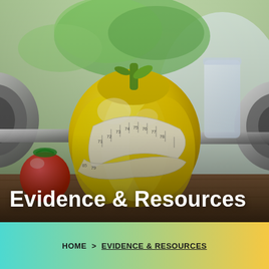[Figure (photo): A yellow bell pepper wrapped with a white measuring tape, with chrome dumbbells in the background, green leafy vegetables, and a red tomato on a wooden surface. Fitness and nutrition themed image.]
Evidence & Resources
HOME > EVIDENCE & RESOURCES